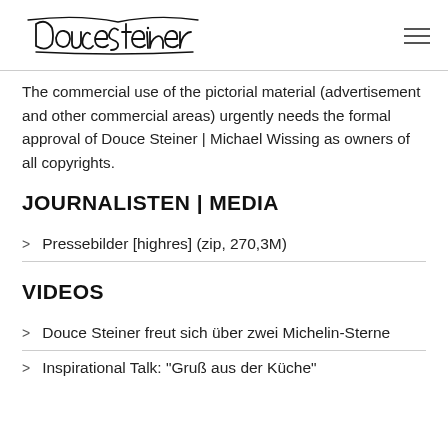Douce Steiner [logo signature]
The commercial use of the pictorial material (advertisement and other commercial areas) urgently needs the formal approval of Douce Steiner | Michael Wissing as owners of all copyrights.
JOURNALISTEN | MEDIA
Pressebilder [highres] (zip, 270,3M)
VIDEOS
Douce Steiner freut sich über zwei Michelin-Sterne
Inspirational Talk: "Gruß aus der Küche"